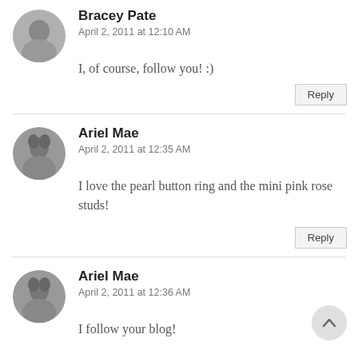[Figure (photo): Circular avatar of Bracey Pate, grayscale photo of a person]
Bracey Pate
April 2, 2011 at 12:10 AM
I, of course, follow you! :)
Reply
[Figure (photo): Circular avatar of Ariel Mae, grayscale photo of a person]
Ariel Mae
April 2, 2011 at 12:35 AM
I love the pearl button ring and the mini pink rose studs!
Reply
[Figure (photo): Circular avatar of Ariel Mae, grayscale photo of a person]
Ariel Mae
April 2, 2011 at 12:36 AM
I follow your blog!
Reply